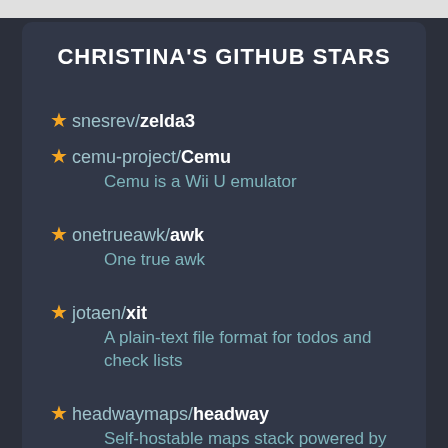CHRISTINA'S GITHUB STARS
snesrev/zelda3
cemu-project/Cemu — Cemu is a Wii U emulator
onetrueawk/awk — One true awk
jotaen/xit — A plain-text file format for todos and check lists
headwaymaps/headway — Self-hostable maps stack powered by